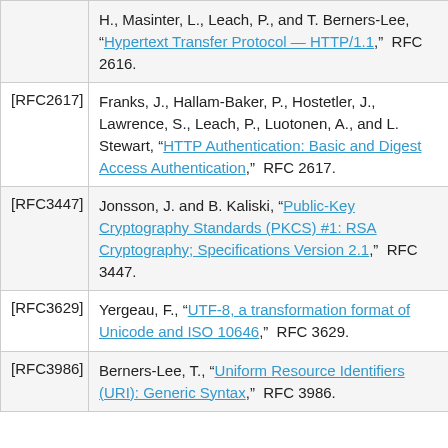| Key | Reference |
| --- | --- |
|  | H., Masinter, L., Leach, P., and T. Berners-Lee, “Hypertext Transfer Protocol — HTTP/1.1,” RFC 2616. |
| [RFC2617] | Franks, J., Hallam-Baker, P., Hostetler, J., Lawrence, S., Leach, P., Luotonen, A., and L. Stewart, “HTTP Authentication: Basic and Digest Access Authentication,” RFC 2617. |
| [RFC3447] | Jonsson, J. and B. Kaliski, “Public-Key Cryptography Standards (PKCS) #1: RSA Cryptography; Specifications Version 2.1,” RFC 3447. |
| [RFC3629] | Yergeau, F., “UTF-8, a transformation format of Unicode and ISO 10646,” RFC 3629. |
| [RFC3986] | Berners-Lee, T., “Uniform Resource Identifiers (URI): Generic Syntax,” RFC 3986. |